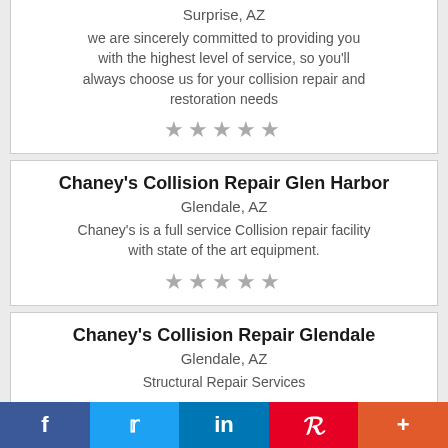Surprise, AZ
we are sincerely committed to providing you with the highest level of service, so you'll always choose us for your collision repair and restoration needs
★★★★★
Chaney's Collision Repair Glen Harbor
Glendale, AZ
Chaney's is a full service Collision repair facility with state of the art equipment.
★★★★★
Chaney's Collision Repair Glendale
Glendale, AZ
Structural Repair Services
f  𝕏  in  P  +